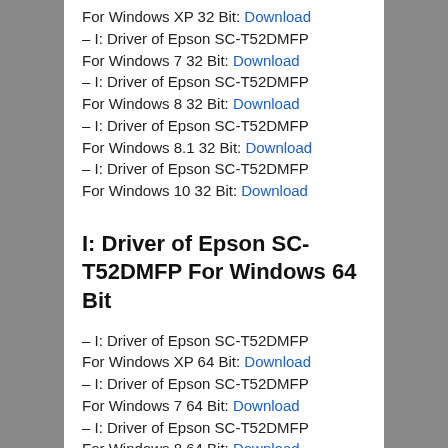For Windows XP 32 Bit: Download – I: Driver of Epson SC-T52DMFP
For Windows 7 32 Bit: Download – I: Driver of Epson SC-T52DMFP
For Windows 8 32 Bit: Download – I: Driver of Epson SC-T52DMFP
For Windows 8.1 32 Bit: Download – I: Driver of Epson SC-T52DMFP
For Windows 10 32 Bit: Download
I: Driver of Epson SC-T52DMFP For Windows 64 Bit
– I: Driver of Epson SC-T52DMFP For Windows XP 64 Bit: Download
– I: Driver of Epson SC-T52DMFP For Windows 7 64 Bit: Download
– I: Driver of Epson SC-T52DMFP For Windows 8 64 Bit: Download
– I: Driver of Epson SC-T52DMFP